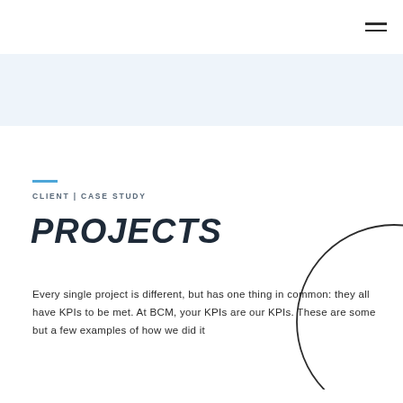Navigation bar with hamburger menu icon
[Figure (illustration): Light blue horizontal band/stripe across the page]
CLIENT | CASE STUDY
PROJECTS
Every single project is different, but has one thing in common: they all have KPIs to be met. At BCM, your KPIs are our KPIs. These are some but a few examples of how we did it
[Figure (illustration): Large decorative circle outline positioned in the lower right area of the page]